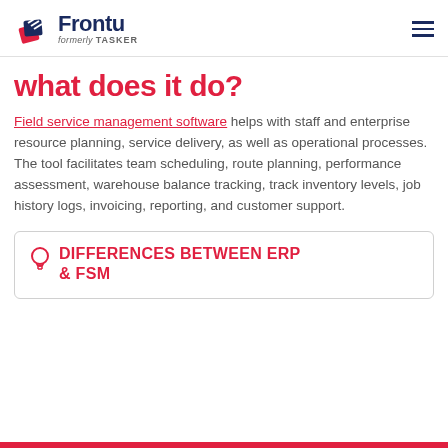Frontu formerly TASKER
what does it do?
Field service management software helps with staff and enterprise resource planning, service delivery, as well as operational processes. The tool facilitates team scheduling, route planning, performance assessment, warehouse balance tracking, track inventory levels, job history logs, invoicing, reporting, and customer support.
DIFFERENCES BETWEEN ERP & FSM